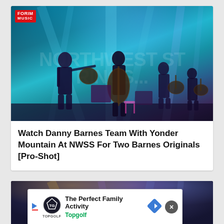[Figure (photo): Concert photo showing musicians on stage with dramatic teal/cyan stage lighting, banner reading 'Northwest Strings' in background, 'Forim Music' badge in top-left corner. Multiple musicians with string instruments including banjo and upright bass.]
Watch Danny Barnes Team With Yonder Mountain At NWSS For Two Barnes Originals [Pro-Shot]
[Figure (photo): Partially visible concert photo with blue/purple stage lighting, bottom portion of page]
The Perfect Family Activity Topgolf